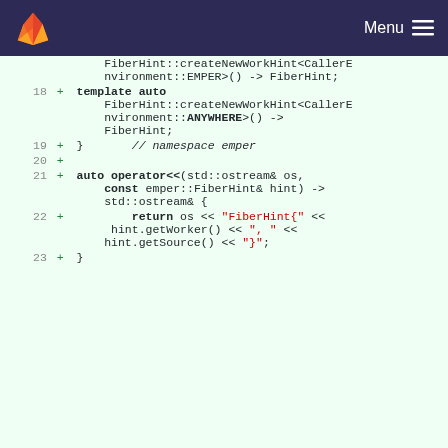GitLab logo | Menu
[Figure (screenshot): Code diff view showing lines 18-23 of a C++ file with additions. Line 18: template auto FiberHint::createNewWorkHint<CallerEnvironment::ANYWHERE>() -> FiberHint; Line 19: } // namespace emper Line 20: (empty add) Line 21: auto operator<<(std::ostream& os, const emper::FiberHint& hint) -> std::ostream& { Line 22: return os << "FiberHint{" << hint.getWorker() << ", " << hint.getSource() << "}"; Line 23: }]
emper/FiberHint.hpp  0 → 100644
1  + // SPDX-License-Identifier: LGPL-3.0-or-later